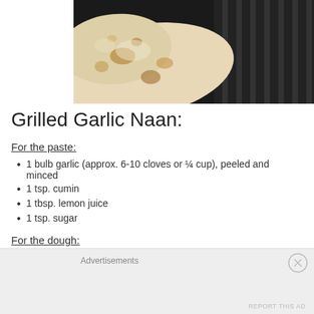[Figure (photo): Naan bread on a dark grill with grill marks, showing browned and charred spots on the flatbread]
Grilled Garlic Naan:
For the paste:
1 bulb garlic (approx. 6-10 cloves or ¼ cup), peeled and minced
1 tsp. cumin
1 tbsp. lemon juice
1 tsp. sugar
For the dough:
½ packet active dry yeast
Advertisements